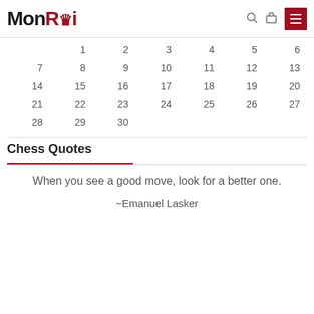[Figure (logo): MonRoi logo with crown icon, black and red text]
| 1 | 2 | 3 | 4 | 5 | 6 |
| 7 | 8 | 9 | 10 | 11 | 12 | 13 |
| 14 | 15 | 16 | 17 | 18 | 19 | 20 |
| 21 | 22 | 23 | 24 | 25 | 26 | 27 |
| 28 | 29 | 30 |  |  |  |  |
Chess Quotes
When you see a good move, look for a better one.
~Emanuel Lasker